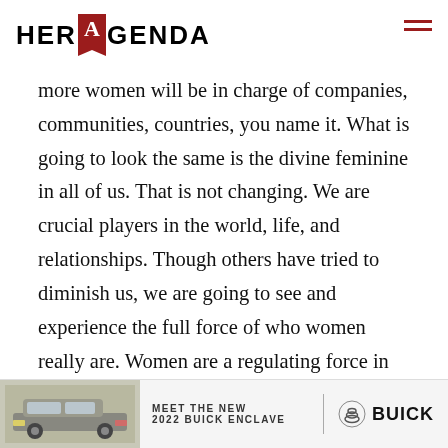HER AGENDA
more women will be in charge of companies, communities, countries, you name it. What is going to look the same is the divine feminine in all of us. That is not changing. We are crucial players in the world, life, and relationships. Though others have tried to diminish us, we are going to see and experience the full force of who women really are. Women are a regulating force in societies and cultures that need to be listened to and we need to listen to ourselves so that ever
[Figure (infographic): Advertisement banner for Buick: Meet the New 2022 Buick Enclave, showing a silver SUV on the left side with Buick logo on the right]